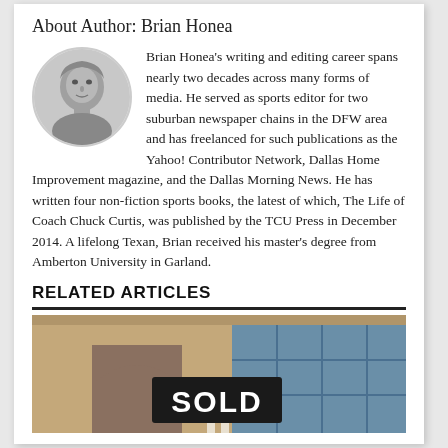About Author: Brian Honea
[Figure (photo): Black and white circular portrait photo of Brian Honea]
Brian Honea's writing and editing career spans nearly two decades across many forms of media. He served as sports editor for two suburban newspaper chains in the DFW area and has freelanced for such publications as the Yahoo! Contributor Network, Dallas Home Improvement magazine, and the Dallas Morning News. He has written four non-fiction sports books, the latest of which, The Life of Coach Chuck Curtis, was published by the TCU Press in December 2014. A lifelong Texan, Brian received his master's degree from Amberton University in Garland.
RELATED ARTICLES
[Figure (photo): Photo of a building with a SOLD sign in the foreground]